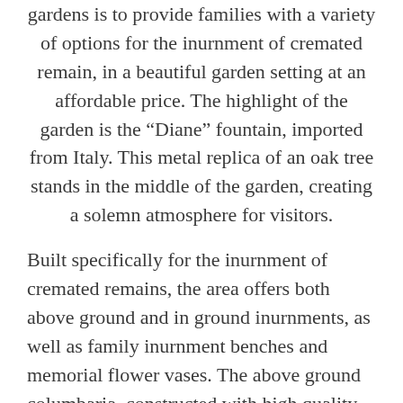gardens is to provide families with a variety of options for the inurnment of cremated remain, in a beautiful garden setting at an affordable price. The highlight of the garden is the “Diane” fountain, imported from Italy. This metal replica of an oak tree stands in the middle of the garden, creating a solemn atmosphere for visitors.
Built specifically for the inurnment of cremated remains, the area offers both above ground and in ground inurnments, as well as family inurnment benches and memorial flower vases. The above ground columbaria, constructed with high quality granite, can be purchased as a single or a double. In ground inurnments options include either brass or granite markers and may also be purchased as a single or a double. A special section is dedicated to veterans with consideration given to assistance provided by the VA.